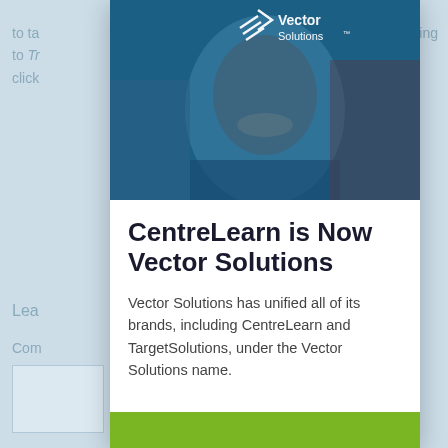to ta...  bing
to Tr...
click
[Figure (photo): A smiling young man in a dark shirt shown from shoulders up, with a blue/teal color overlay, and the Vector Solutions logo (white) overlaid at the top center of the image.]
CentreLearn is Now Vector Solutions
Vector Solutions has unified all of its brands, including CentreLearn and TargetSolutions, under the Vector Solutions name.